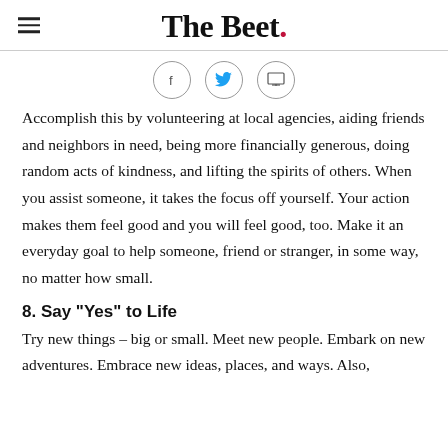The Beet.
[Figure (other): Social share icons: Facebook, Twitter, and Print]
Accomplish this by volunteering at local agencies, aiding friends and neighbors in need, being more financially generous, doing random acts of kindness, and lifting the spirits of others. When you assist someone, it takes the focus off yourself. Your action makes them feel good and you will feel good, too. Make it an everyday goal to help someone, friend or stranger, in some way, no matter how small.
8. Say "Yes" to Life
Try new things – big or small. Meet new people. Embark on new adventures. Embrace new ideas, places, and ways. Also,